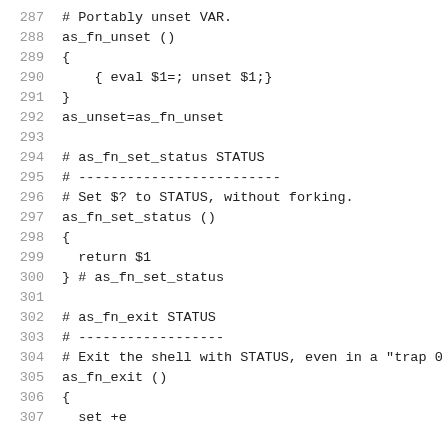287  # Portably unset VAR.
288  as_fn_unset ()
289  {
290      { eval $1=; unset $1;}
291  }
292  as_unset=as_fn_unset
293
294  # as_fn_set_status STATUS
295  # -------------------------
296  # Set $? to STATUS, without forking.
297  as_fn_set_status ()
298  {
299    return $1
300  } # as_fn_set_status
301
302  # as_fn_exit STATUS
303  # ------------------
304  # Exit the shell with STATUS, even in a "trap 0
305  as_fn_exit ()
306  {
307    set +e
308  ...